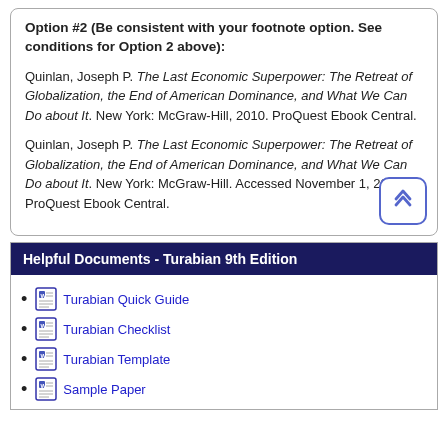Option #2 (Be consistent with your footnote option. See conditions for Option 2 above):
Quinlan, Joseph P. The Last Economic Superpower: The Retreat of Globalization, the End of American Dominance, and What We Can Do about It. New York: McGraw-Hill, 2010. ProQuest Ebook Central.
Quinlan, Joseph P. The Last Economic Superpower: The Retreat of Globalization, the End of American Dominance, and What We Can Do about It. New York: McGraw-Hill. Accessed November 1, 2011. ProQuest Ebook Central.
Helpful Documents - Turabian 9th Edition
Turabian Quick Guide
Turabian Checklist
Turabian Template
Sample Paper